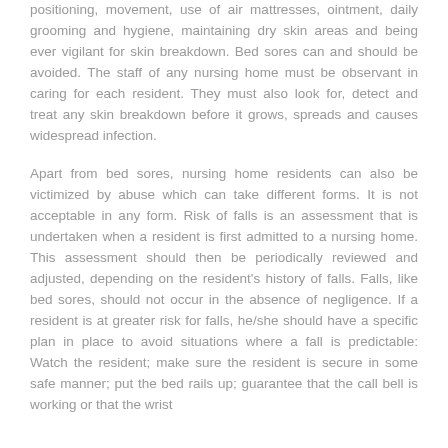positioning, movement, use of air mattresses, ointment, daily grooming and hygiene, maintaining dry skin areas and being ever vigilant for skin breakdown. Bed sores can and should be avoided. The staff of any nursing home must be observant in caring for each resident. They must also look for, detect and treat any skin breakdown before it grows, spreads and causes widespread infection.
Apart from bed sores, nursing home residents can also be victimized by abuse which can take different forms. It is not acceptable in any form. Risk of falls is an assessment that is undertaken when a resident is first admitted to a nursing home. This assessment should then be periodically reviewed and adjusted, depending on the resident's history of falls. Falls, like bed sores, should not occur in the absence of negligence. If a resident is at greater risk for falls, he/she should have a specific plan in place to avoid situations where a fall is predictable: Watch the resident; make sure the resident is secure in some safe manner; put the bed rails up; guarantee that the call bell is working or that the wrist